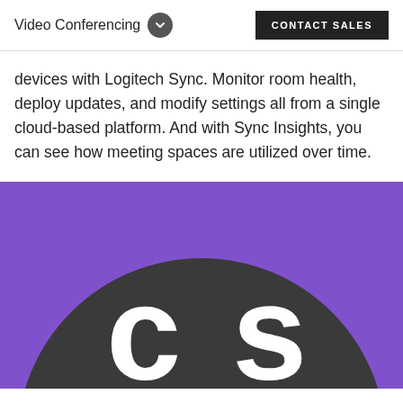Video Conferencing  CONTACT SALES
devices with Logitech Sync. Monitor room health, deploy updates, and modify settings all from a single cloud-based platform. And with Sync Insights, you can see how meeting spaces are utilized over time.
[Figure (logo): Purple background with a large dark grey circle containing white 'cs' letters, partially cropped at bottom]